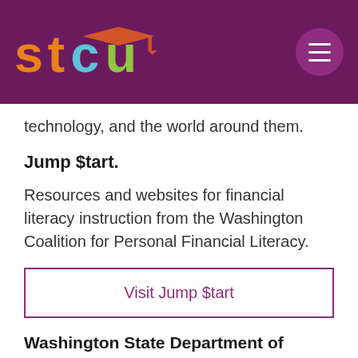[Figure (logo): STCU logo with colorful letters and graduation cap icon on purple background]
technology, and the world around them.
Jump $tart.
Resources and websites for financial literacy instruction from the Washington Coalition for Personal Financial Literacy.
Visit Jump $tart
Washington State Department of Financial Institutions.
Financial education resources for teachers from